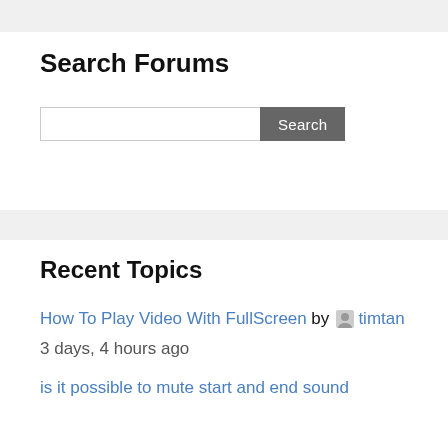Search Forums
Search (input field and button)
Recent Topics
How To Play Video With FullScreen by timtan
3 days, 4 hours ago
is it possible to mute start and end sound of...